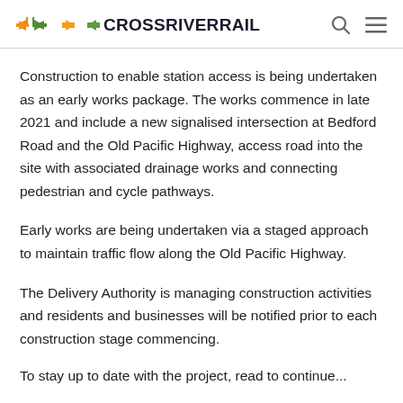CROSSRIVERRAIL
Construction to enable station access is being undertaken as an early works package. The works commence in late 2021 and include a new signalised intersection at Bedford Road and the Old Pacific Highway, access road into the site with associated drainage works and connecting pedestrian and cycle pathways.
Early works are being undertaken via a staged approach to maintain traffic flow along the Old Pacific Highway.
The Delivery Authority is managing construction activities and residents and businesses will be notified prior to each construction stage commencing.
To stay up to date with the project, read to continue...